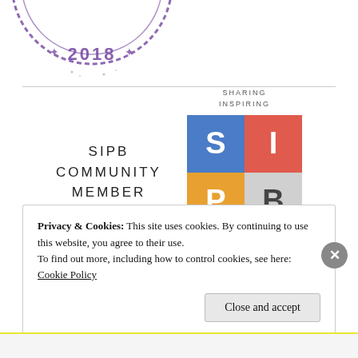[Figure (logo): Partial circular stamp/badge with text '2018' visible at bottom, purple ink style]
[Figure (logo): SIPB Community Member badge with SIPB grid logo showing colored tiles for S (blue), I (red), P (orange), B (gray), and text 'SHARING INSPIRING PROMOTING BLOGGERS']
Privacy & Cookies: This site uses cookies. By continuing to use this website, you agree to their use.
To find out more, including how to control cookies, see here: Cookie Policy
Close and accept